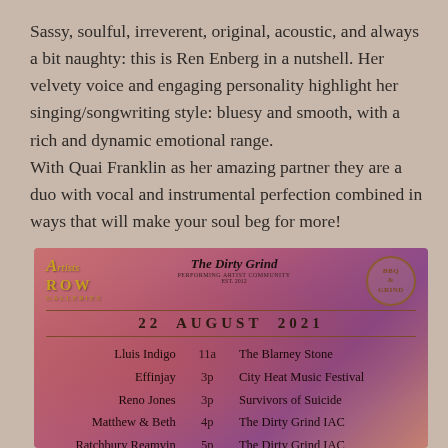Sassy, soulful, irreverent, original, acoustic, and always a bit naughty: this is Ren Enberg in a nutshell. Her velvety voice and engaging personality highlight her singing/songwriting style: bluesy and smooth, with a rich and dynamic emotional range. With Quai Franklin as her amazing partner they are a duo with vocal and instrumental perfection combined in ways that will make your soul beg for more!
[Figure (infographic): Event flyer with pink/purple gradient background showing Artists Row Galleries logo, The Dirty Grind logo, and a BBQ & Grind badge. Date: 22 August 2021. Table of performers: Lluis Indigo 11a The Blarney Stone, Effinjay 3p City Heat Music Festival, Reno Jones 3p Survivors of Suicide, Matthew & Beth 4p The Dirty Grind IAC, Ratchbury Reamvin 5p The Dirty Grind IAC]